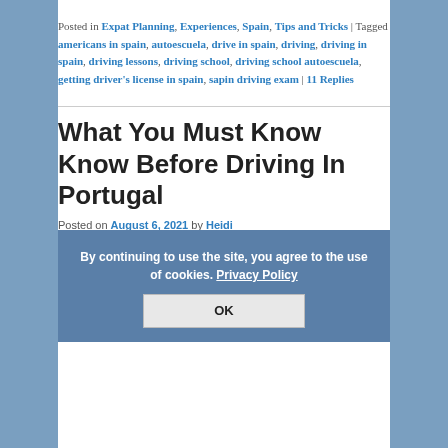Posted in Expat Planning, Experiences, Spain, Tips and Tricks | Tagged americans in spain, autoescuela, drive in spain, driving, driving in spain, driving lessons, driving school, driving school autoescuela, getting driver's license in spain, sapin driving exam | 11 Replies
What You Must Know Before Driving In Portugal
Posted on August 6, 2021 by Heidi
Planning on driving in Portugal?  Well, we have a few tips to help you out.  First we will tell our story and you will find some resource information at the end.
[Figure (other): Cookie consent overlay: 'By continuing to use the site, you agree to the use of cookies. Privacy Policy' with an OK button]
[Figure (screenshot): Image placeholder for 'What You Must Know Before Driving In Portugal' with caption text 'Planning on driving in Portugal? Well, we have a few']